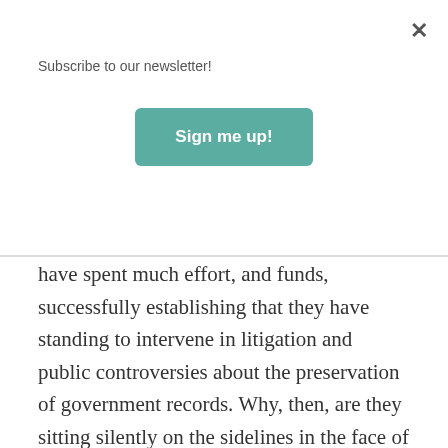Subscribe to our newsletter!
Sign me up!
have spent much effort, and funds, successfully establishing that they have standing to intervene in litigation and public controversies about the preservation of government records. Why, then, are they sitting silently on the sidelines in the face of Hillary Clinton’s so far successful attempt to privatize, under her personal ownership and control, large swaths of the history of the State Department under her leadership and her destruction (or attempted destruction) of